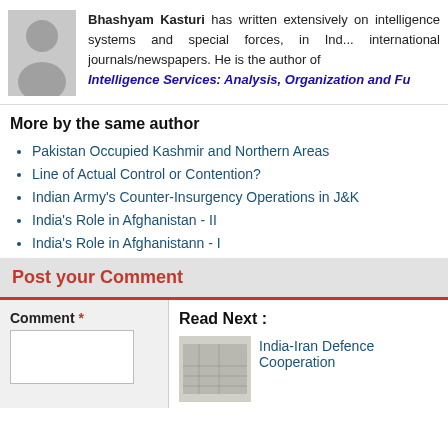[Figure (photo): Gray placeholder avatar icon of a person silhouette]
Bhashyam Kasturi has written extensively on intelligence systems and special forces, in international journals/newspapers. He is the author of Intelligence Services: Analysis, Organization and Fu...
More by the same author
Pakistan Occupied Kashmir and Northern Areas
Line of Actual Control or Contention?
Indian Army's Counter-Insurgency Operations in J&K
India's Role in Afghanistan - II
India's Role in Afghanistann - I
Post your Comment
Comment *
Read Next :
[Figure (photo): Thumbnail map/diagram image for India-Iran Defence Cooperation article]
India-Iran Defence Cooperation